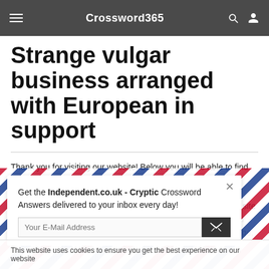Crossword365
Strange vulgar business arranged with European in support
Thank you for visiting our website! Below you will be able to find the answer to Strange vulgar business arranged with European in support crossword clue which was last seen on independent.co.uk - Cryptic Crossword, May 20 2022. Our site contains over 2.8 million crossword clues in which you can find whatever clue you are looking for. Since you landed on this page then you would like to know the answer to Strange vulgar business arranged with European in support. Witho
[Figure (other): Email signup popup with airmail border pattern. Text: Get the Independent.co.uk - Cryptic Crossword Answers delivered to your inbox every day! Email input field and submit button.]
This website uses cookies to ensure you get the best experience on our website